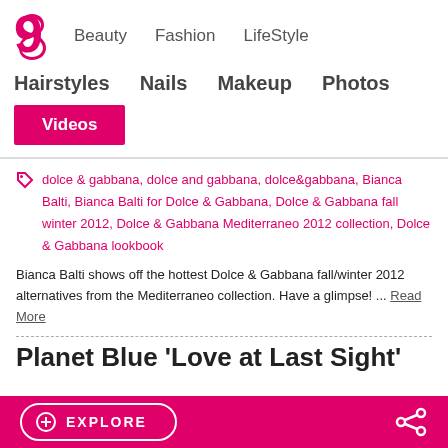Beauty  Fashion  LifeStyle | Hairstyles  Nails  Makeup  Photos | Videos
dolce & gabbana, dolce and gabbana, dolce&gabbana, Bianca Balti, Bianca Balti for Dolce & Gabbana, Dolce & Gabbana fall winter 2012, Dolce & Gabbana Mediterraneo 2012 collection, Dolce & Gabbana lookbook
Bianca Balti shows off the hottest Dolce & Gabbana fall/winter 2012 alternatives from the Mediterraneo collection. Have a glimpse! ... Read More
Planet Blue 'Love at Last Sight'
EXPLORE